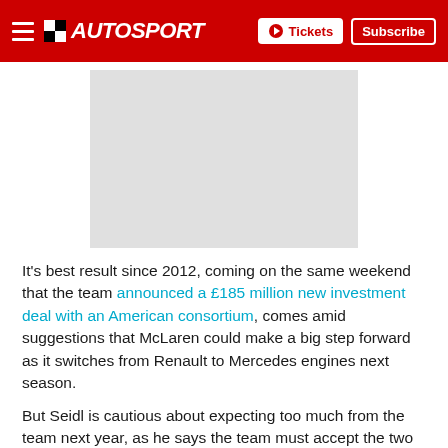AUTOSPORT — Tickets | Subscribe
[Figure (photo): Gray placeholder image rectangle]
It's best result since 2012, coming on the same weekend that the team announced a £185 million new investment deal with an American consortium, comes amid suggestions that McLaren could make a big step forward as it switches from Renault to Mercedes engines next season.
But Seidl is cautious about expecting too much from the team next year, as he says the team must accept the two outfits ahead of it are still a step clear.